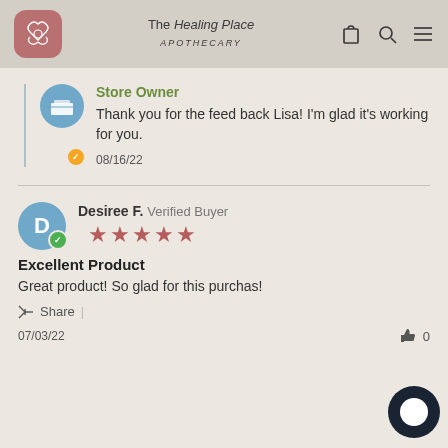The Healing Place APOTHECARY
Store Owner
Thank you for the feed back Lisa! I'm glad it's working for you.
08/16/22
Desiree F. Verified Buyer
★★★★★
Excellent Product
Great product! So glad for this purchas!
Share
07/03/22  👍 0